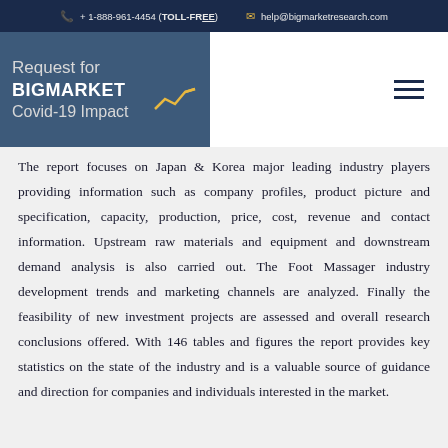+ 1-888-961-4454 (TOLL-FREE)   help@bigmarketresearch.com
[Figure (logo): BigMarket Research logo with 'Request for' and 'Covid-19 Impact' text on dark blue background, with a small chart icon]
The report focuses on Japan & Korea major leading industry players providing information such as company profiles, product picture and specification, capacity, production, price, cost, revenue and contact information. Upstream raw materials and equipment and downstream demand analysis is also carried out. The Foot Massager industry development trends and marketing channels are analyzed. Finally the feasibility of new investment projects are assessed and overall research conclusions offered. With 146 tables and figures the report provides key statistics on the state of the industry and is a valuable source of guidance and direction for companies and individuals interested in the market.